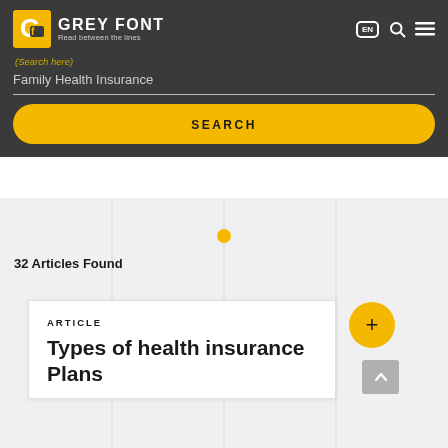GREY FONT — Read between the lines
Family Health Insurance
SEARCH
32 Articles Found
ARTICLE
Types of health insurance Plans